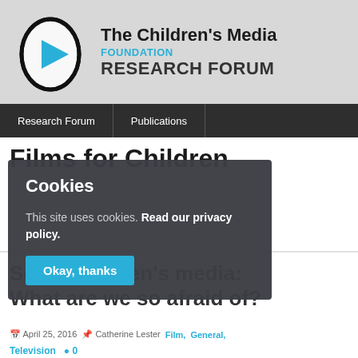[Figure (logo): The Children's Media Foundation Research Forum logo with egg-shaped icon containing blue play button]
The Children's Media Foundation RESEARCH FORUM
Research Forum | Publications
Films for Children
[Figure (screenshot): Cookie consent overlay popup with dark background. Title: Cookies. Text: This site uses cookies. Read our privacy policy. Button: Okay, thanks]
Scary children's media: What are we so afraid of?
April 25, 2016  Catherine Lester  Film, General, Television  0